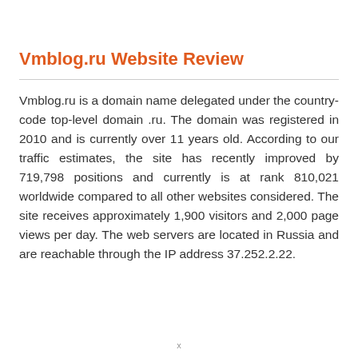Vmblog.ru Website Review
Vmblog.ru is a domain name delegated under the country-code top-level domain .ru. The domain was registered in 2010 and is currently over 11 years old. According to our traffic estimates, the site has recently improved by 719,798 positions and currently is at rank 810,021 worldwide compared to all other websites considered. The site receives approximately 1,900 visitors and 2,000 page views per day. The web servers are located in Russia and are reachable through the IP address 37.252.2.22.
X